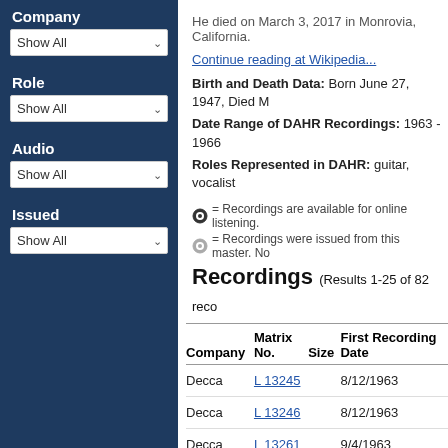Company
Show All
Role
Show All
Audio
Show All
Issued
Show All
He died on March 3, 2017 in Monrovia, California.
Continue reading at Wikipedia...
Birth and Death Data: Born June 27, 1947, Died M
Date Range of DAHR Recordings: 1963 - 1966
Roles Represented in DAHR: guitar, vocalist
= Recordings are available for online listening.
= Recordings were issued from this master. No
Recordings (Results 1-25 of 82 reco
| Company | Matrix No. | Size | First Recording Date |
| --- | --- | --- | --- |
| Decca | L 13245 |  | 8/12/1963 |
| Decca | L 13246 |  | 8/12/1963 |
| Decca | L 13261 |  | 9/4/1963 |
| Decca | L 13262 |  | 9/4/1963 |